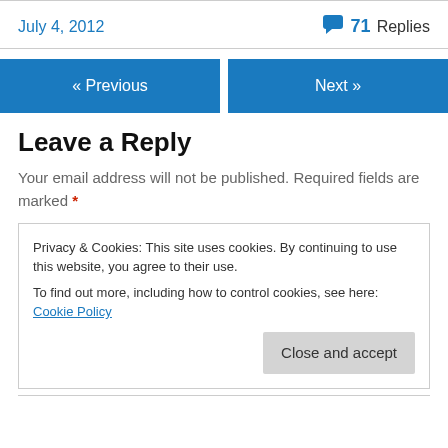July 4, 2012
71 Replies
« Previous
Next »
Leave a Reply
Your email address will not be published. Required fields are marked *
Privacy & Cookies: This site uses cookies. By continuing to use this website, you agree to their use. To find out more, including how to control cookies, see here: Cookie Policy
Close and accept